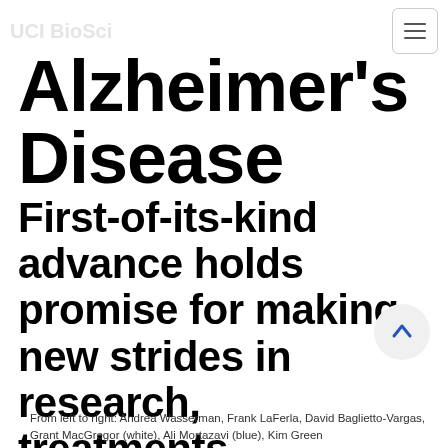UCI BioSci
Alzheimer's Disease
First-of-its-kind advance holds promise for making new strides in research, treatments.
From left to right: Andrea Wasserman, Frank LaFerla, David Baglietto-Vargas, Grant MacGregor (white), Ali Mortazavi (blue), Kim Green